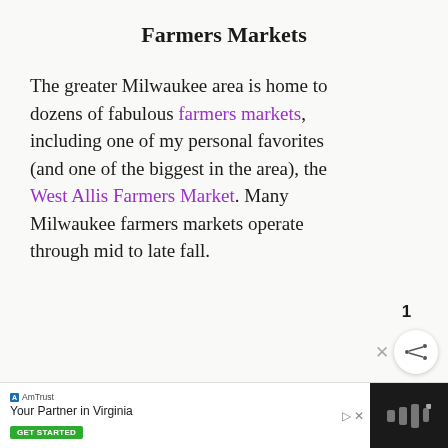Farmers Markets
The greater Milwaukee area is home to dozens of fabulous farmers markets, including one of my personal favorites (and one of the biggest in the area), the West Allis Farmers Market. Many Milwaukee farmers markets operate through mid to late fall.
[Figure (illustration): Rainbow arch illustration with concentric arcs in blue, tan/gold, and red/orange on a light background.]
[Figure (screenshot): Social sharing UI: heart (like) button circle in purple, count of 1, X close icon, and share button circle with network icon.]
[Figure (screenshot): What's Next sidebar card with thumbnail image and text 'Free Printable Vintage...']
[Figure (screenshot): Advertisement bar: AmTrust Insurance 'Your Partner in Virginia' with GET STARTED button, and dark right panel with logo.]